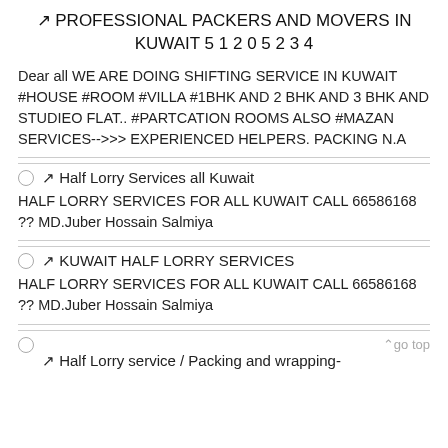↗ PROFESSIONAL PACKERS AND MOVERS IN KUWAIT 5 1 2 0 5 2 3 4
Dear all WE ARE DOING SHIFTING SERVICE IN KUWAIT #HOUSE #ROOM #VILLA #1BHK AND 2 BHK AND 3 BHK AND STUDIEO FLAT.. #PARTCATION ROOMS ALSO #MAZAN SERVICES-->>> EXPERIENCED HELPERS. PACKING N.A
↗ Half Lorry Services all Kuwait
HALF LORRY SERVICES FOR ALL KUWAIT CALL 66586168 ?? MD.Juber Hossain Salmiya
↗ KUWAIT HALF LORRY SERVICES
HALF LORRY SERVICES FOR ALL KUWAIT CALL 66586168 ?? MD.Juber Hossain Salmiya
↗ Half Lorry service / Packing and wrapping-